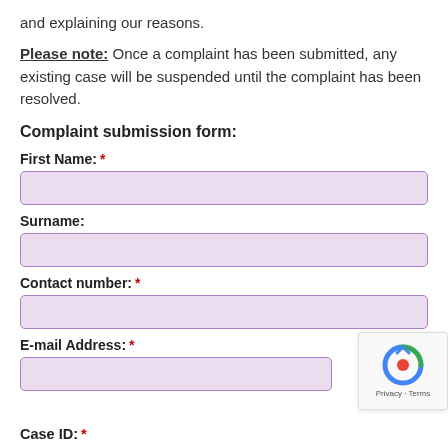and explaining our reasons.
Please note: Once a complaint has been submitted, any existing case will be suspended until the complaint has been resolved.
Complaint submission form:
First Name: *
Surname:
Contact number: *
E-mail Address: *
Case ID: *